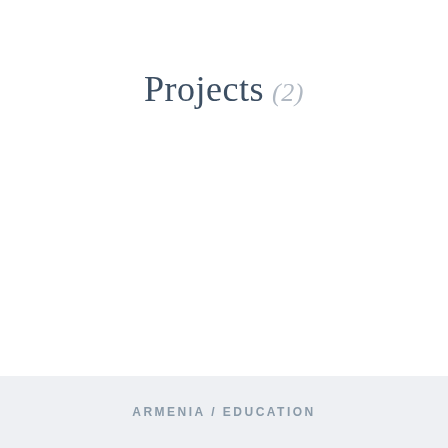Projects (2)
ARMENIA / EDUCATION